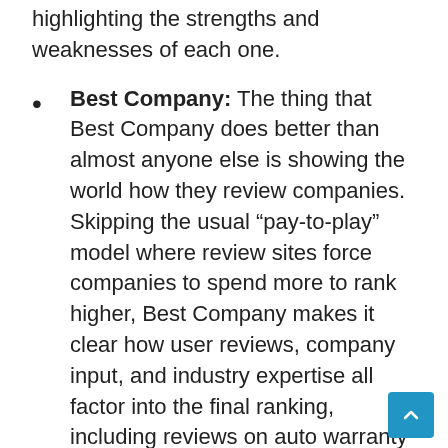highlighting the strengths and weaknesses of each one.
Best Company: The thing that Best Company does better than almost anyone else is showing the world how they review companies. Skipping the usual “pay-to-play” model where review sites force companies to spend more to rank higher, Best Company makes it clear how user reviews, company input, and industry expertise all factor into the final ranking, including reviews on auto warranty providers.
Better Business Bureau: There is no more extensive resource than the Better Business Bureau. The BBB does a good job of rating companies on an individual basis. While you won’t find too many comparison reviews, its individual auto warranty lists are a great resource for finding